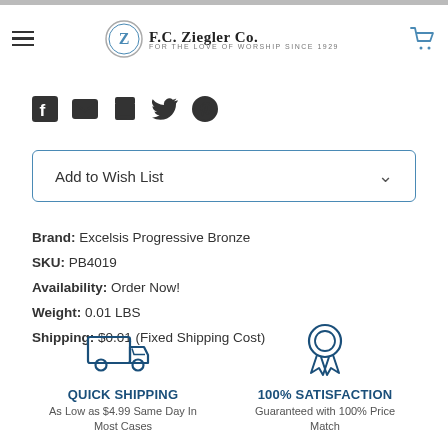F.C. Ziegler Co. — For the Love of Worship Since 1929
[Figure (infographic): Social sharing icons: Facebook, Email, Print, Twitter, Pinterest]
Add to Wish List
Brand: Excelsis Progressive Bronze
SKU: PB4019
Availability: Order Now!
Weight: 0.01 LBS
Shipping: $0.01 (Fixed Shipping Cost)
[Figure (infographic): Quick Shipping icon — delivery truck outline in blue. Text: QUICK SHIPPING. As Low as $4.99 Same Day In Most Cases]
[Figure (infographic): 100% Satisfaction icon — award ribbon/medal in blue. Text: 100% SATISFACTION. Guaranteed with 100% Price Match]